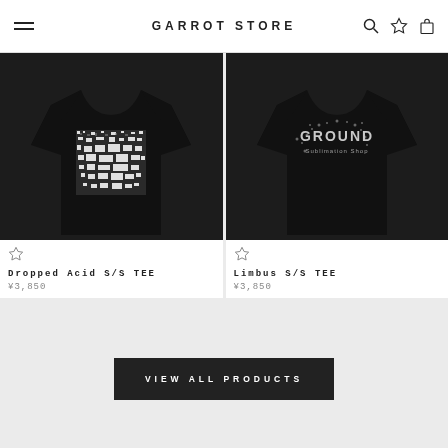GARROT STORE
[Figure (photo): Black t-shirt with white abstract/galaxy print graphic on chest — Dropped Acid S/S TEE product photo]
Dropped Acid S/S TEE
¥3,850
[Figure (photo): Black t-shirt with white splatter/grunge text graphic on chest — Limbus S/S TEE product photo]
Limbus S/S TEE
¥3,850
VIEW ALL PRODUCTS